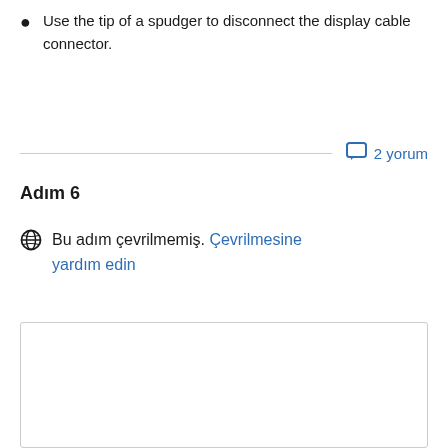Use the tip of a spudger to disconnect the display cable connector.
2 yorum
Adım 6
Bu adım çevrilmemiş. Çevrilmesine yardım edin
[Figure (other): Empty image placeholder box with border]